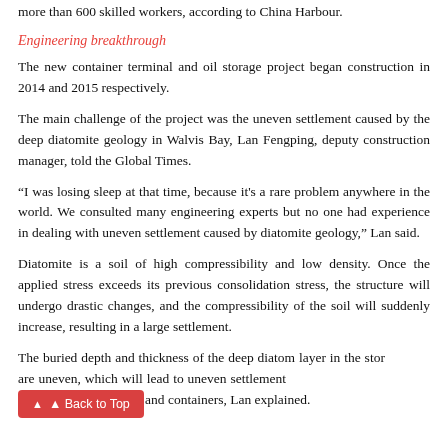more than 600 skilled workers, according to China Harbour.
Engineering breakthrough
The new container terminal and oil storage project began construction in 2014 and 2015 respectively.
The main challenge of the project was the uneven settlement caused by the deep diatomite geology in Walvis Bay, Lan Fengping, deputy construction manager, told the Global Times.
“I was losing sleep at that time, because it's a rare problem anywhere in the world. We consulted many engineering experts but no one had experience in dealing with uneven settlement caused by diatomite geology,” Lan said.
Diatomite is a soil of high compressibility and low density. Once the applied stress exceeds its previous consolidation stress, the structure will undergo drastic changes, and the compressibility of the soil will suddenly increase, resulting in a large settlement.
The buried depth and thickness of the deep diatom layer in the storage area are uneven, which will lead to uneven settlement and the loading of superstructures and containers, Lan explained.